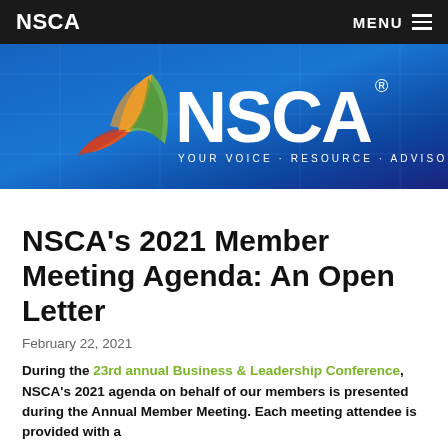NSCA  MENU
[Figure (logo): NSCA logo with colorful triangular icon and white text 'NSCA' with tagline 'YOUR VOICE · RESOURCE · ADVISOR' on blue gradient background]
NSCA's 2021 Member Meeting Agenda: An Open Letter
February 22, 2021
During the 23rd annual Business & Leadership Conference, NSCA's 2021 agenda on behalf of our members is presented during the Annual Member Meeting. Each meeting attendee is provided with a